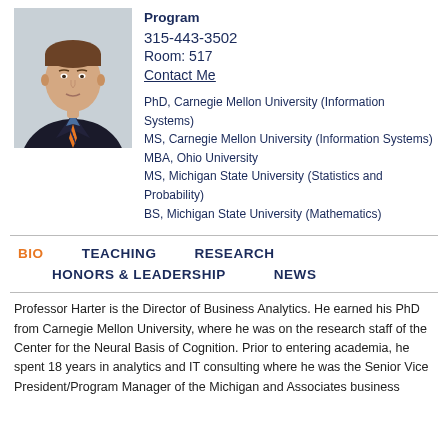[Figure (photo): Headshot photo of Professor Harter in a suit with an orange and navy striped tie against a light background]
Program
315-443-3502
Room: 517
Contact Me
PhD, Carnegie Mellon University (Information Systems)
MS, Carnegie Mellon University (Information Systems)
MBA, Ohio University
MS, Michigan State University (Statistics and Probability)
BS, Michigan State University (Mathematics)
BIO
TEACHING
RESEARCH
HONORS & LEADERSHIP
NEWS
Professor Harter is the Director of Business Analytics. He earned his PhD from Carnegie Mellon University, where he was on the research staff of the Center for the Neural Basis of Cognition. Prior to entering academia, he spent 18 years in analytics and IT consulting where he was the Senior Vice President/Program Manager of the Michigan and Associates business...